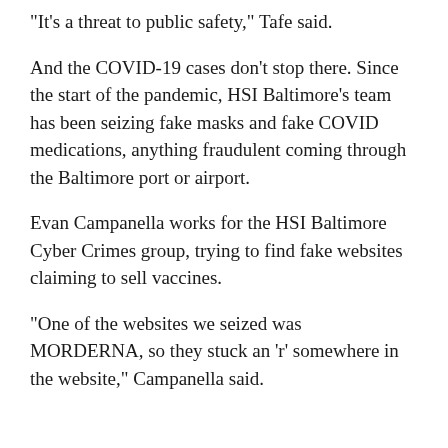"It's a threat to public safety," Tafe said.
And the COVID-19 cases don't stop there. Since the start of the pandemic, HSI Baltimore's team has been seizing fake masks and fake COVID medications, anything fraudulent coming through the Baltimore port or airport.
Evan Campanella works for the HSI Baltimore Cyber Crimes group, trying to find fake websites claiming to sell vaccines.
"One of the websites we seized was MORDERNA, so they stuck an 'r' somewhere in the website," Campanella said.